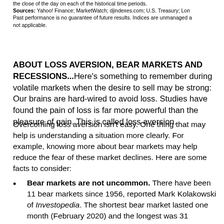the close of the day on each of the historical time periods. Sources: Yahoo! Finance; MarketWatch; djindexes.com; U.S. Treasury; Lon... Past performance is no guarantee of future results. Indices are unmanaged a... not applicable.
ABOUT LOSS AVERSION, BEAR MARKETS AND RECESSIONS...Here's something to remember during volatile markets when the desire to sell may be strong: Our brains are hard-wired to avoid loss. Studies have found the pain of loss is far more powerful than the pleasure of gain. This is called loss aversion.
Overcoming loss aversion isn't easy. One thing that may help is understanding a situation more clearly. For example, knowing more about bear markets may help reduce the fear of these market declines. Here are some facts to consider:
Bear markets are not uncommon. There have been 11 bear markets since 1956, reported Mark Kolakowski of Investopedia. The shortest bear market lasted one month (February 2020) and the longest was 31 months.